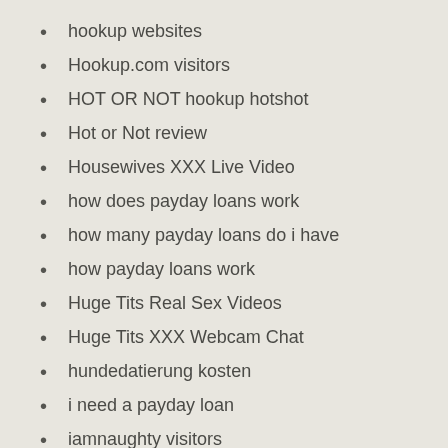hookup websites
Hookup.com visitors
HOT OR NOT hookup hotshot
Hot or Not review
Housewives XXX Live Video
how does payday loans work
how many payday loans do i have
how payday loans work
Huge Tits Real Sex Videos
Huge Tits XXX Webcam Chat
hundedatierung kosten
i need a payday loan
iamnaughty visitors
Idaho Best Online Payday Loans
Illinois Payday Loans Online Same Day